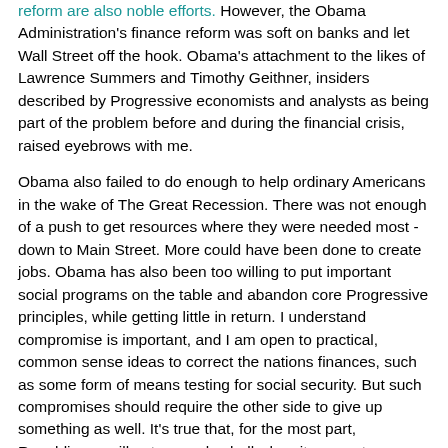reform are also noble efforts. However, the Obama Administration's finance reform was soft on banks and let Wall Street off the hook. Obama's attachment to the likes of Lawrence Summers and Timothy Geithner, insiders described by Progressive economists and analysts as being part of the problem before and during the financial crisis, raised eyebrows with me.
Obama also failed to do enough to help ordinary Americans in the wake of The Great Recession. There was not enough of a push to get resources where they were needed most - down to Main Street. More could have been done to create jobs. Obama has also been too willing to put important social programs on the table and abandon core Progressive principles, while getting little in return. I understand compromise is important, and I am open to practical, common sense ideas to correct the nations finances, such as some form of means testing for social security. But such compromises should require the other side to give up something as well. It's true that, for the most part, Republicans will not even play ball when it comes to compromising to get something done for the Country. Obama clearly could have achieved more on the domestic